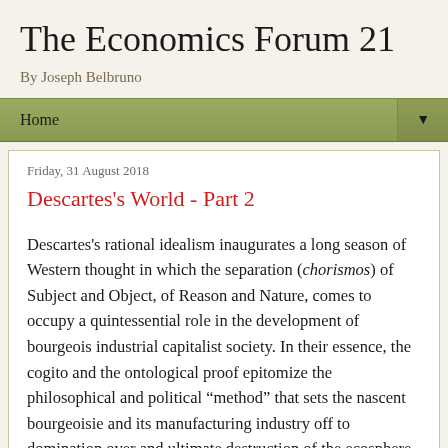The Economics Forum 21
By Joseph Belbruno
Home
Friday, 31 August 2018
Descartes's World - Part 2
Descartes's rational idealism inaugurates a long season of Western thought in which the separation (chorismos) of Subject and Object, of Reason and Nature, comes to occupy a quintessential role in the development of bourgeois industrial capitalist society. In their essence, the cogito and the ontological proof epitomize the philosophical and political “method” that sets the nascent bourgeoisie and its manufacturing industry off to domination over and ultimate destruction of the ecosphere. By hypostatizing its